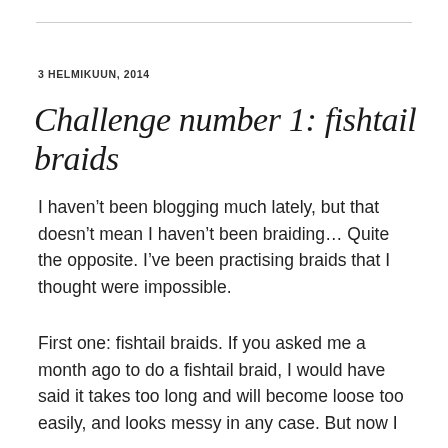3 HELMIKUUN, 2014
Challenge number 1: fishtail braids
I haven’t been blogging much lately, but that doesn’t mean I haven’t been braiding… Quite the opposite. I’ve been practising braids that I thought were impossible.
First one: fishtail braids. If you asked me a month ago to do a fishtail braid, I would have said it takes too long and will become loose too easily, and looks messy in any case. But now I